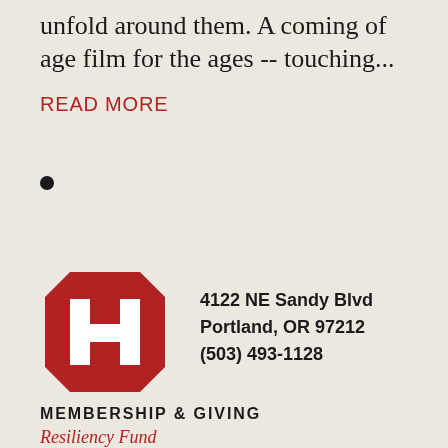unfold around them. A coming of age film for the ages -- touching...
READ MORE
•
[Figure (logo): Red square logo with white H letter inside a decorative octagonal border]
4122 NE Sandy Blvd
Portland, OR 97212
(503) 493-1128
MEMBERSHIP & GIVING
Resiliency Fund